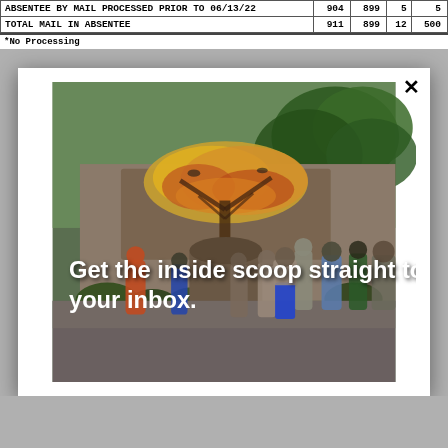|  |  |  |  |  |
| --- | --- | --- | --- | --- |
| ABSENTEE BY MAIL PROCESSED PRIOR TO 06/13/22 | 904 | 899 | 5 | 5 |
| TOTAL MAIL IN ABSENTEE | 911 | 899 | 12 | 500 |
*No Processing
[Figure (photo): Outdoor scene showing people standing in a line outside a building with a colorful tree mural painted on the wall. Trees visible in background. Modal overlay with close button (X) and text: 'Get the inside scoop straight to your inbox.']
Get the inside scoop straight to your inbox.